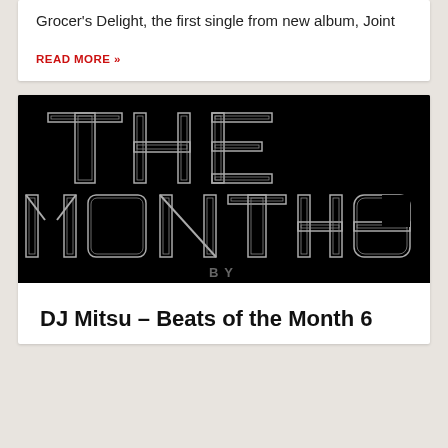Grocer's Delight, the first single from new album, Joint
READ MORE »
[Figure (illustration): Black background image with large outlined retro-style text reading 'THE MONTH 6' with 'BY' partially visible at the bottom]
DJ Mitsu – Beats of the Month 6